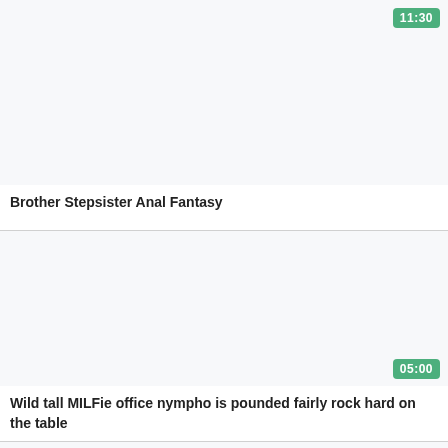[Figure (screenshot): Video thumbnail placeholder (white/light gray area) for first video card]
11:30
Brother Stepsister Anal Fantasy
[Figure (screenshot): Video thumbnail placeholder (white/light gray area) for second video card]
05:00
Wild tall MILFie office nympho is pounded fairly rock hard on the table